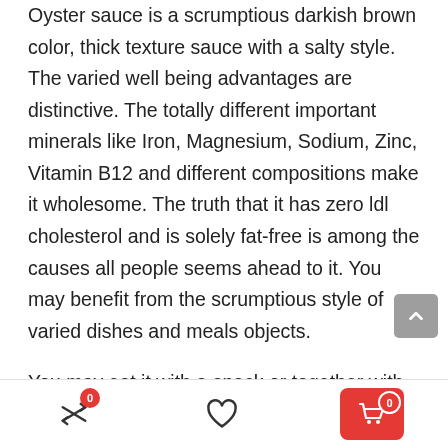Oyster sauce is a scrumptious darkish brown color, thick texture sauce with a salty style. The varied well being advantages are distinctive. The totally different important minerals like Iron, Magnesium, Sodium, Zinc, Vitamin B12 and different compositions make it wholesome. The truth that it has zero ldl cholesterol and is solely fat-free is among the causes all people seems ahead to it. You may benefit from the scrumptious style of varied dishes and meals objects.
You may eat it with a snack or together with your each day meal. The oyster sauce provides numerous flavour to your meals and improves it. Additionally, we must always not neglect every little thing has its